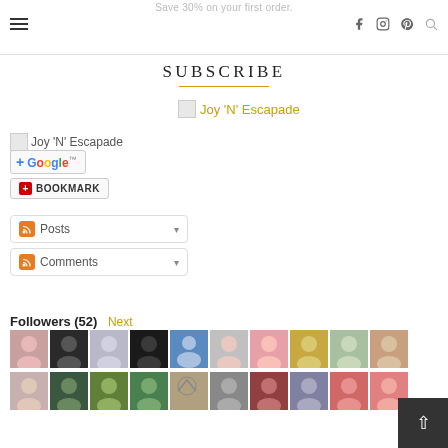Save 30% on your first order.
SUBSCRIBE
Joy 'N' Escapade (top link)
Joy 'N' Escapade (left link)
[Figure (screenshot): Google+ subscribe button]
[Figure (screenshot): Bookmark button]
[Figure (screenshot): RSS Posts subscribe dropdown]
[Figure (screenshot): RSS Comments subscribe dropdown]
Followers (52) Next
[Figure (photo): Grid of follower avatar thumbnails, two rows of approximately 10-11 avatars each]